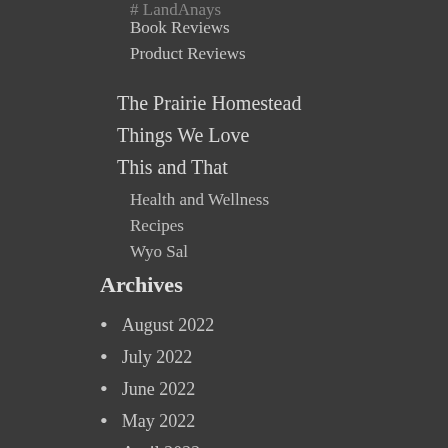# LandAnays
Book Reviews
Product Reviews
The Prairie Homestead
Things We Love
This and That
Health and Wellness
Recipes
Wyo Sal
Archives
August 2022
July 2022
June 2022
May 2022
April 2022
March 2022